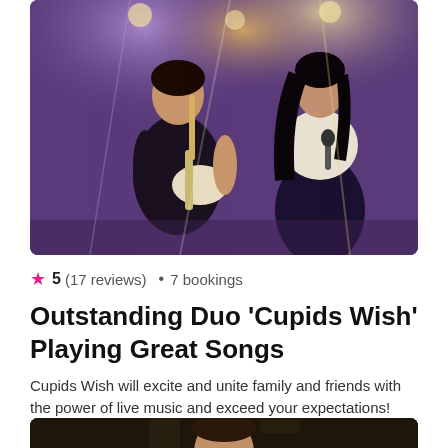[Figure (photo): Two musicians on stage under purple and white spotlights — a man playing electric guitar on the left and a woman singing on the right]
★ 5 (17 reviews) • 7 bookings
Outstanding Duo 'Cupids Wish' Playing Great Songs
Cupids Wish will excite and unite family and friends with the power of live music and exceed your expectations!
from £750 / per event
[Figure (photo): A young man standing in front of a dark stone wall background]